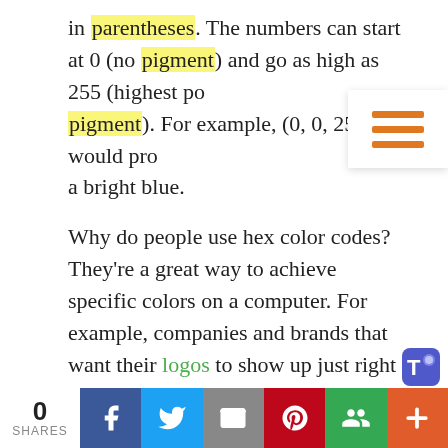in parentheses. The numbers can start at 0 (no pigment) and go as high as 255 (highest possible pigment). For example, (0, 0, 255) would produce a bright blue.
Why do people use hex color codes? They're a great way to achieve specific colors on a computer. For example, companies and brands that want their logos to show up just right on the screen put a lot of thought into choosing the right hex color code. RGB colors are also very effective and a common choice.
Are you interested in learning more about hex color codes? Many people work with them to create beautifully colored designs every day. Practicing
[Figure (infographic): Hamburger menu icon (three horizontal orange lines) in a white box with shadow, overlaid on the top-right of the page content.]
[Figure (logo): Microsoft Teams purple logo icon, bottom right corner.]
[Figure (infographic): Social share bar at bottom: 0 SHARES counter, then Facebook (blue), Twitter (light blue), Email (grey), Pinterest (red), Google+ (green), and plus (orange) buttons.]